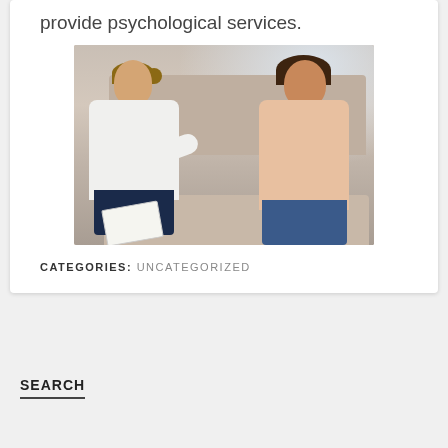provide psychological services.
[Figure (photo): Two people in a therapy session sitting on a couch. One person (therapist) in a white shirt holding a notebook, the other (client) in a pink/mauve wrap smiling.]
CATEGORIES: UNCATEGORIZED
SEARCH